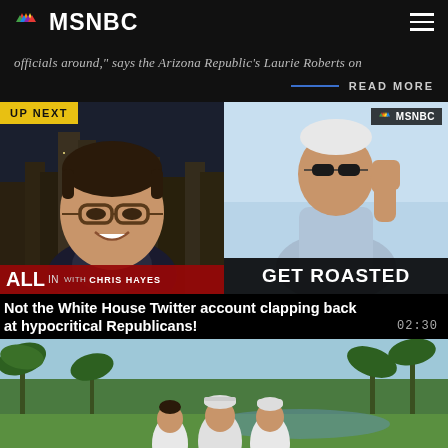MSNBC
officials around," says the Arizona Republic's Laurie Roberts on
READ MORE
[Figure (screenshot): MSNBC video thumbnail showing Chris Hayes on left with UP NEXT badge and yellow background label, and a Biden image on right with GET ROASTED text overlay and MSNBC badge]
Not the White House Twitter account clapping back at hypocritical Republicans!
02:30
[Figure (photo): Outdoor photo at a golf course with palm trees showing three people in white polo shirts and caps posing together]